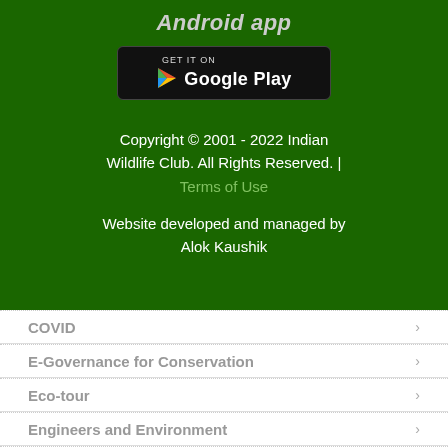Android app
[Figure (logo): Google Play Store badge - GET IT ON Google Play]
Copyright © 2001 - 2022 Indian Wildlife Club. All Rights Reserved. | Terms of Use
Website developed and managed by Alok Kaushik
COVID
E-Governance for Conservation
Eco-tour
Engineers and Environment
Environment Awareness